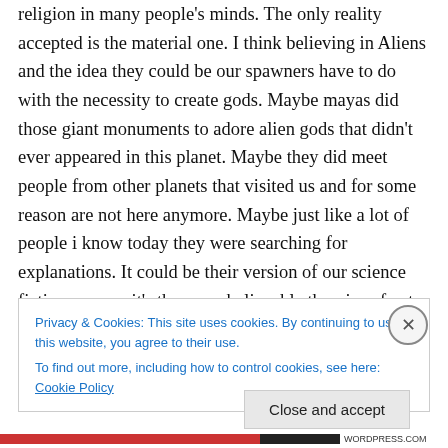religion in many people's minds. The only reality accepted is the material one. I think believing in Aliens and the idea they could be our spawners have to do with the necessity to create gods. Maybe mayas did those giant monuments to adore alien gods that didn't ever appeared in this planet. Maybe they did meet people from other planets that visited us and for some reason are not here anymore. Maybe just like a lot of people i know today they were searching for explanations. It could be their version of our science fiction even so it's the more believable theories of extra terrestrial live i found in all my reading. What is
Privacy & Cookies: This site uses cookies. By continuing to use this website, you agree to their use.
To find out more, including how to control cookies, see here: Cookie Policy
Close and accept